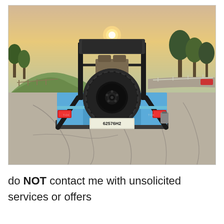[Figure (photo): Rear view of a light blue Jeep CJ/Wrangler with large off-road tires, black roll cage, spare tire mounted on the back, California license plate 62576H2, parked on a cracked concrete surface with hills, trees, and a road visible in the background at sunset.]
do NOT contact me with unsolicited services or offers